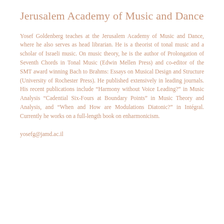Jerusalem Academy of Music and Dance
Yosef Goldenberg teaches at the Jerusalem Academy of Music and Dance, where he also serves as head librarian. He is a theorist of tonal music and a scholar of Israeli music. On music theory, he is the author of Prolongation of Seventh Chords in Tonal Music (Edwin Mellen Press) and co-editor of the SMT award winning Bach to Brahms: Essays on Musical Design and Structure (University of Rochester Press). He published extensively in leading journals. His recent publications include “Harmony without Voice Leading?” in Music Analysis “Cadential Six-Fours at Boundary Points” in Music Theory and Analysis, and “When and How are Modulations Diatonic?” in Intégral. Currently he works on a full-length book on enharmonicism.
yosefg@jamd.ac.il